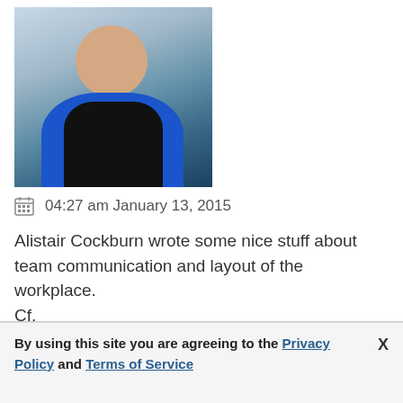[Figure (photo): Headshot photo of a man smiling, wearing a blue athletic shirt, outdoors with blurred background]
04:27 am January 13, 2015
Alistair Cockburn wrote some nice stuff about team communication and layout of the workplace.
Cf.
http://alistair.cockburn.us/ASD+book+extract%3a...
You can also find some ideas in "Peopleware" from Tom DeMarco & Timothy Lister
By using this site you are agreeing to the Privacy Policy and Terms of Service